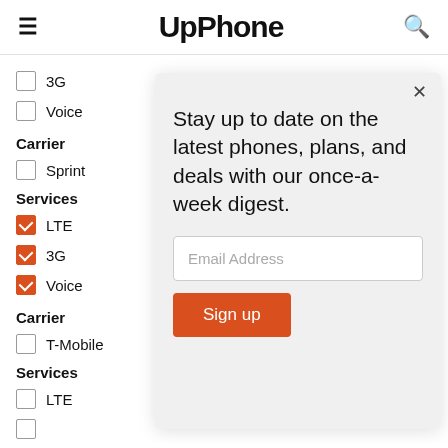UpPhone
3G (unchecked)
Voice (unchecked)
Carrier
Sprint (unchecked)
Services
LTE (checked)
3G (checked)
Voice (checked)
Carrier
T-Mobile (unchecked)
Services
LTE (unchecked)
Stay up to date on the latest phones, plans, and deals with our once-a-week digest.
Email Address
Sign up